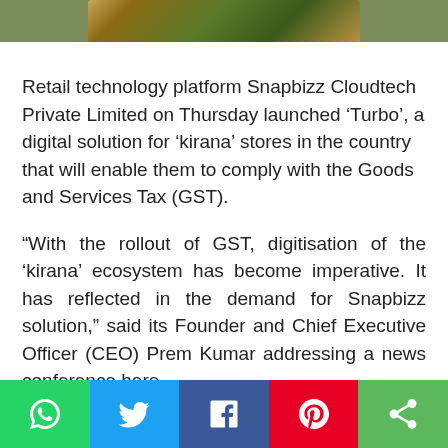[Figure (photo): Partial image of a smartphone or device with an autumn/nature background, cropped at top]
Retail technology platform Snapbizz Cloudtech Private Limited on Thursday launched ‘Turbo’, a digital solution for ‘kirana’ stores in the country that will enable them to comply with the Goods and Services Tax (GST).
“With the rollout of GST, digitisation of the ‘kirana’ ecosystem has become imperative. It has reflected in the demand for Snapbizz solution,” said its Founder and Chief Executive Officer (CEO) Prem Kumar addressing a news conference here.
[Figure (infographic): Social media share bar at bottom with WhatsApp (green), Twitter (blue), Facebook (dark blue), Pinterest (red), and Share (green) buttons with icons]